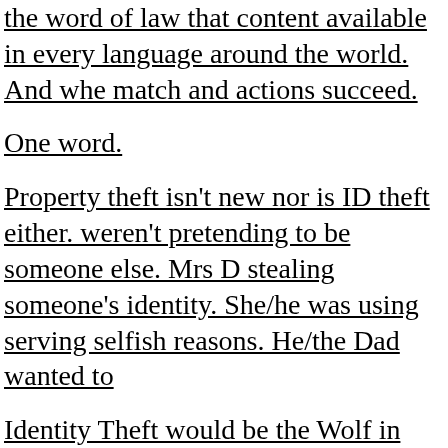the word of law that content available in every language around the world. And whe match and actions succeed.
One word.
Property theft isn't new nor is ID theft either. weren't pretending to be someone else. Mrs D stealing someone's identity. She/he was using serving selfish reasons. He/the Dad wanted to
Identity Theft would be the Wolf in Sheep's c in so the rest of the flock would not see his re come, plus.
This isn't Kansas, as the expression goes. Thi cost to unsuspecting people it hurts. Answers nctll omethin ohil I i ht di